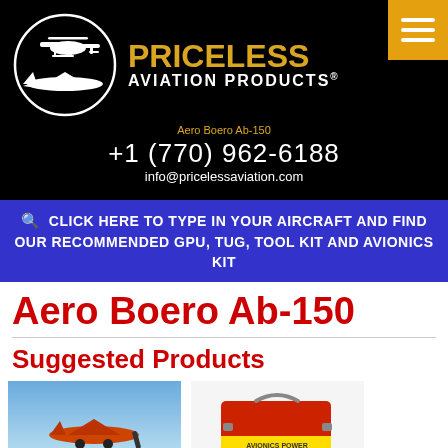[Figure (logo): Priceless Aviation Products logo with helicopter and airplane silhouettes in a circle, with brand name text]
Aero Boero Ab-150
+1 (770) 962-6188
info@pricelessaviation.com
CLICK HERE TO TYPE IN YOUR AIRCRAFT AND FIND OUR RECOMMENDED GPU, TUG, TOOL KIT AND AVIONICS KIT
Aero Boero Ab-150
Suggested Products
[Figure (photo): Small airplane on ground, blue sky background]
[Figure (photo): Red equipment box/case with yellow label]